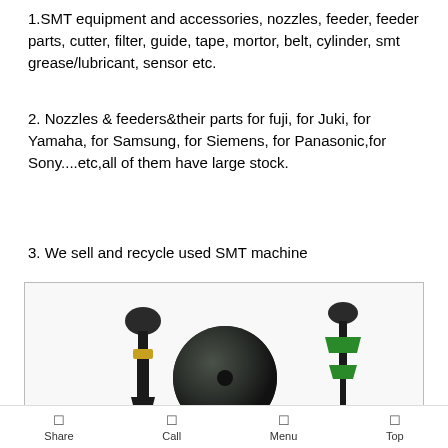1.SMT equipment and accessories, nozzles, feeder, feeder parts, cutter, filter, guide, tape, mortor, belt, cylinder, smt grease/lubricant, sensor etc.
2. Nozzles & feeders&their parts for fuji, for Juki, for Yamaha, for Samsung, for Siemens, for Panasonic,for Sony....etc,all of them have large stock.
3. We sell and recycle used SMT machine
[Figure (photo): Three SMT nozzle components displayed side by side: a black nozzle with gold band on the left, a round dark spherical component in the center, and a green SMT nozzle on the right. Small labels/text below each component.]
Share  Call  Menu  Top